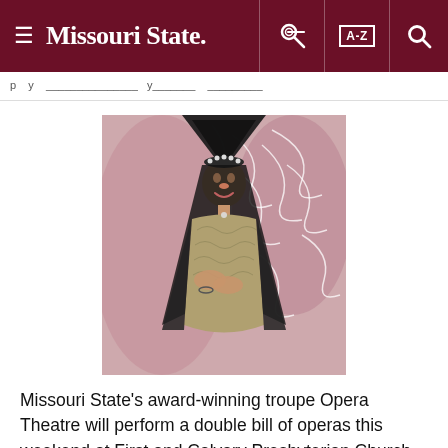≡ Missouri State. [key icon] [A-Z] [search icon]
[Figure (photo): An opera performer wearing a black veil headdress with jeweled ornaments, dressed in a gray/gold embroidered costume, hands clasped to chest, performing on stage with a pink/mauve curtain and projected swirling white designs in the background.]
Missouri State's award-winning troupe Opera Theatre will perform a double bill of operas this weekend at First and Calvary Presbyterian Church. Operas to be performed: There are will perform at something...